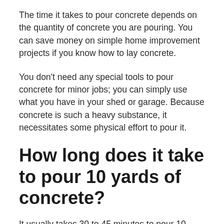The time it takes to pour concrete depends on the quantity of concrete you are pouring. You can save money on simple home improvement projects if you know how to lay concrete.
You don't need any special tools to pour concrete for minor jobs; you can simply use what you have in your shed or garage. Because concrete is such a heavy substance, it necessitates some physical effort to pour it.
How long does it take to pour 10 yards of concrete?
It usually takes 30 to 45 minutes to pour 10